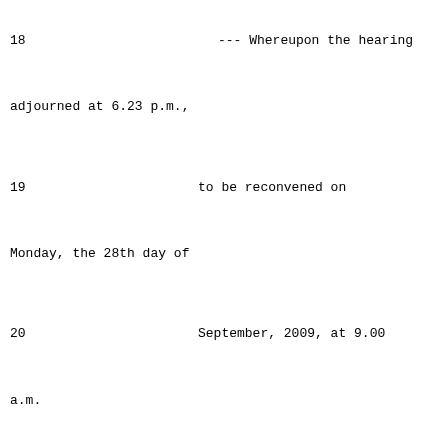18    --- Whereupon the hearing adjourned at 6.23 p.m.,
19    to be reconvened on Monday, the 28th day of
20    September, 2009, at 9.00 a.m.
21
22
23
24
25